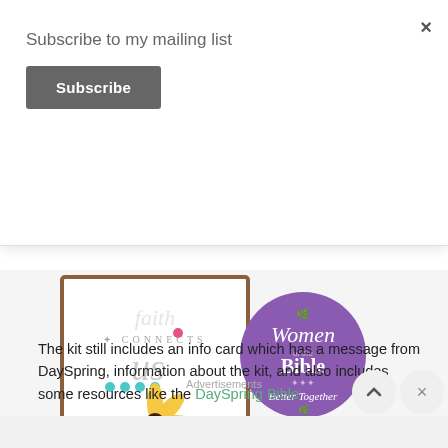Subscribe to my mailing list
Subscribe
[Figure (illustration): A greeting card with floral design showing 'connects us' text with a yellow daisy flower and decorative dots]
[Figure (illustration): A purple circular badge reading 'Women of the Bible Better Together' with decorative leaf elements]
The kit still includes an info card which has a message from DaySpring, information about the kit, and also includes some resources like the DaySpring Bible
Advertisements